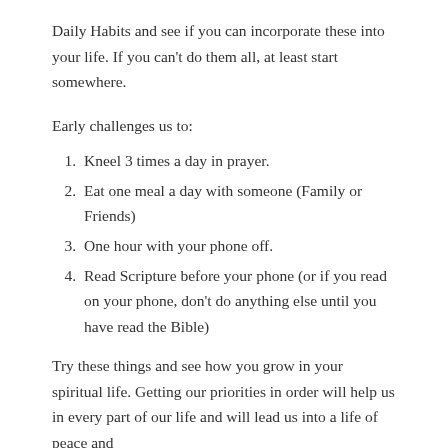Daily Habits and see if you can incorporate these into your life. If you can't do them all, at least start somewhere.
Early challenges us to:
Kneel 3 times a day in prayer.
Eat one meal a day with someone (Family or Friends)
One hour with your phone off.
Read Scripture before your phone (or if you read on your phone, don't do anything else until you have read the Bible)
Try these things and see how you grow in your spiritual life. Getting our priorities in order will help us in every part of our life and will lead us into a life of peace and